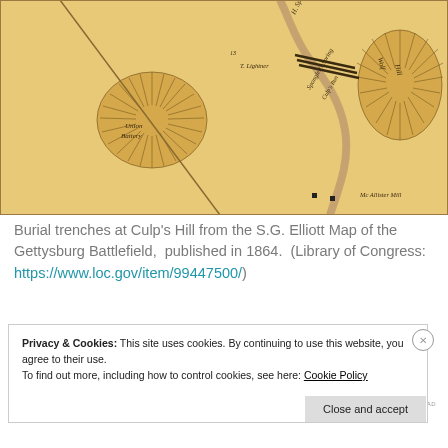[Figure (map): Historical map detail showing burial trenches at Culp's Hill from the S.G. Elliott Map of the Gettysburg Battlefield, published in 1864. Sepia/tan tones with handwritten labels including 'Union Battery', 'Wolf Hill', 'McAllister Mill', 'H. Spangley', 'T. Lightner'. Shows topographic features, roads, and trench markings.]
Burial trenches at Culp's Hill from the S.G. Elliott Map of the Gettysburg Battlefield, published in 1864. (Library of Congress: https://www.loc.gov/item/99447500/)
[Figure (screenshot): Dark advertisement bar with WordPress course promotion text in teal color on dark navy background.]
Privacy & Cookies: This site uses cookies. By continuing to use this website, you agree to their use. To find out more, including how to control cookies, see here: Cookie Policy
Close and accept